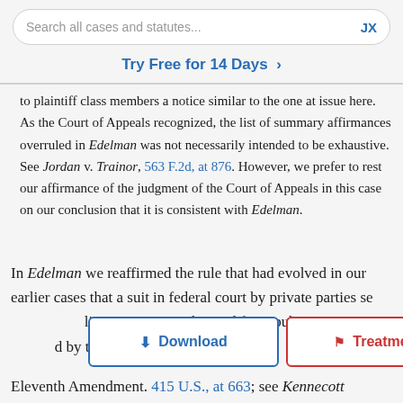Search all cases and statutes...  JX
Try Free for 14 Days >
to plaintiff class members a notice similar to the one at issue here. As the Court of Appeals recognized, the list of summary affirmances overruled in Edelman was not necessarily intended to be exhaustive. See Jordan v. Trainor, 563 F.2d, at 876. However, we prefer to rest our affirmance of the judgment of the Court of Appeals in this case on our conclusion that it is consistent with Edelman.
In Edelman we reaffirmed the rule that had evolved in our earlier cases that a suit in federal court by private parties se[...]lia[...] be paid from pub[...]ate[...] by the Eleventh Amendment. 415 U.S., at 663; see Kennecott
[Figure (other): Download button overlay (blue border, Download label with down arrow)]
[Figure (other): Treatment button overlay (red border, Treatment label with red flag)]